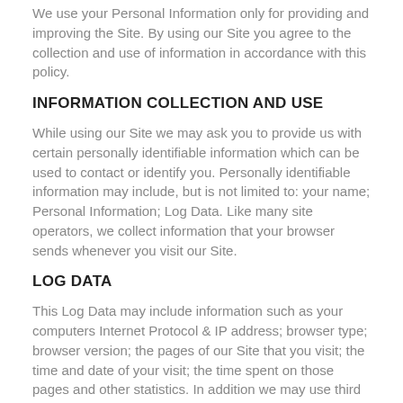We use your Personal Information only for providing and improving the Site. By using our Site you agree to the collection and use of information in accordance with this policy.
INFORMATION COLLECTION AND USE
While using our Site we may ask you to provide us with certain personally identifiable information which can be used to contact or identify you. Personally identifiable information may include, but is not limited to: your name; Personal Information; Log Data. Like many site operators, we collect information that your browser sends whenever you visit our Site.
LOG DATA
This Log Data may include information such as your computers Internet Protocol & IP address; browser type; browser version; the pages of our Site that you visit; the time and date of your visit; the time spent on those pages and other statistics. In addition we may use third party services such as Google Analytics that collect, monitor and analyze this ... The Log Data section is for businesses that use analytics or tracking services in websites or apps, like Google Analytics.